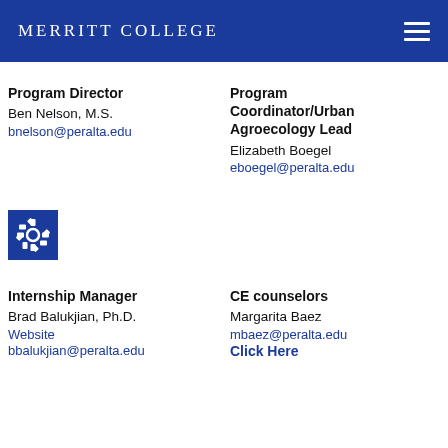MERRITT COLLEGE
Program Director
Ben Nelson, M.S.
bnelson@peralta.edu
Program Coordinator/Urban Agroecology Lead
Elizabeth Boegel
eboegel@peralta.edu
[Figure (other): Blue square icon with a gear/settings symbol]
Internship Manager
Brad Balukjian, Ph.D.
Website
bbalukjian@peralta.edu
CE counselors
Margarita Baez
mbaez@peralta.edu
Click Here